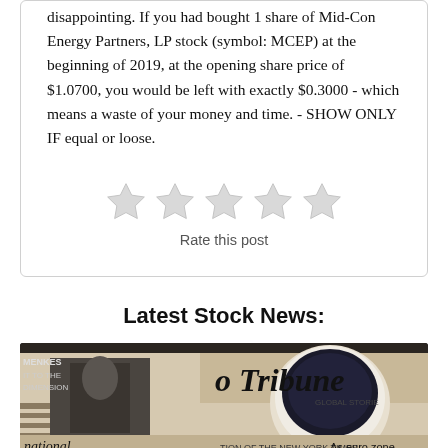disappointing. If you had bought 1 share of Mid-Con Energy Partners, LP stock (symbol: MCEP) at the beginning of 2019, at the opening share price of $1.0700, you would be left with exactly $0.3000 - which means a waste of your money and time. - SHOW ONLY IF equal or loose.
[Figure (other): Five empty star rating icons (grey/unfilled) for rating the post]
Rate this post
Latest Stock News:
[Figure (photo): Photograph of newspapers including what appears to be the International Herald Tribune, with a coffee cup visible. Text visible includes 'MENKES', 'IT TO THE', 'DIMENSION', 'ational', 'o Tribune', 'As euro zone', 'TION OF THE NEW YORK TIMES', 'GLOBAL STORIE'.]